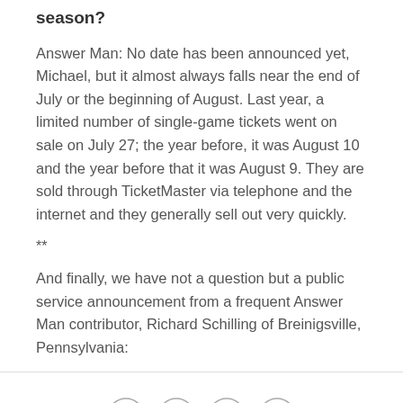season?
Answer Man: No date has been announced yet, Michael, but it almost always falls near the end of July or the beginning of August. Last year, a limited number of single-game tickets went on sale on July 27; the year before, it was August 10 and the year before that it was August 9. They are sold through TicketMaster via telephone and the internet and they generally sell out very quickly.
**
And finally, we have not a question but a public service announcement from a frequent Answer Man contributor, Richard Schilling of Breinigsville, Pennsylvania:
[Figure (infographic): Social sharing icons: Facebook, Twitter, Email, Link]